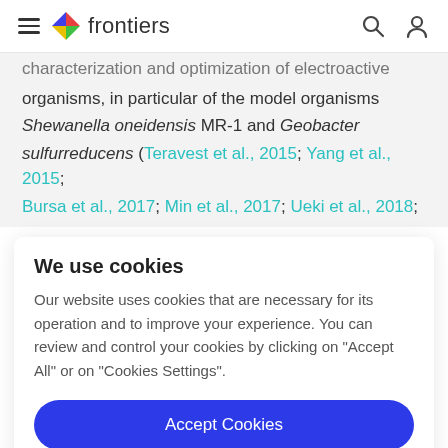frontiers
characterization and optimization of electroactive organisms, in particular of the model organisms Shewanella oneidensis MR-1 and Geobacter sulfurreducens (Teravest et al., 2015; Yang et al., 2015; Bursa et al., 2017; Min et al., 2017; Ueki et al., 2018;
We use cookies
Our website uses cookies that are necessary for its operation and to improve your experience. You can review and control your cookies by clicking on "Accept All" or on "Cookies Settings".
Accept Cookies
Cookies Settings